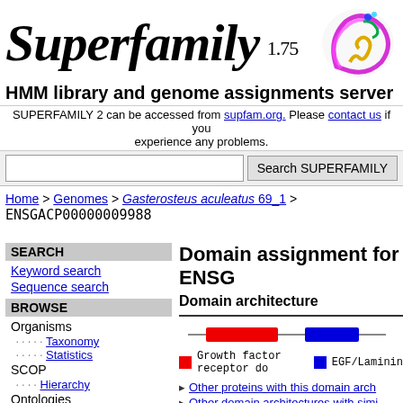Superfamily 1.75
HMM library and genome assignments server
SUPERFAMILY 2 can be accessed from supfam.org. Please contact us if you experience any problems.
Search SUPERFAMILY
Home > Genomes > Gasterosteus aculeatus 69_1 > ENSGACP00000009988
SEARCH
Keyword search
Sequence search
BROWSE
Organisms
Taxonomy
Statistics
SCOP
Hierarchy
Ontologies
Domain assignment for ENSG
Domain architecture
[Figure (infographic): Domain architecture diagram with legend showing red box for Growth factor receptor do and blue box for EGF/Laminin]
Other proteins with this domain arch
Other domain architectures with simi
See the phylogenetic distribution for